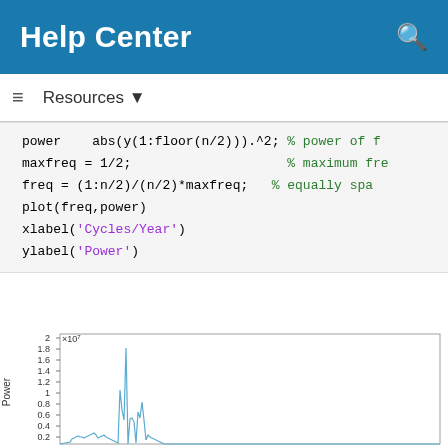Help Center
Resources ▼
power   abs(y(1:floor(n/2))).^2; % power of f
maxfreq = 1/2;                  % maximum fre
freq = (1:n/2)/(n/2)*maxfreq;  % equally spa
plot(freq,power)
xlabel('Cycles/Year')
ylabel('Power')
[Figure (continuous-plot): Power spectrum plot showing power (y-axis, x10^7, range 0 to 2) vs frequency (Cycles/Year), with a sharp dominant spike near 0.08 reaching ~1.8x10^7 and smaller spikes nearby. Y-axis label: Power. Scale factor x10^7 shown at top left of y-axis.]